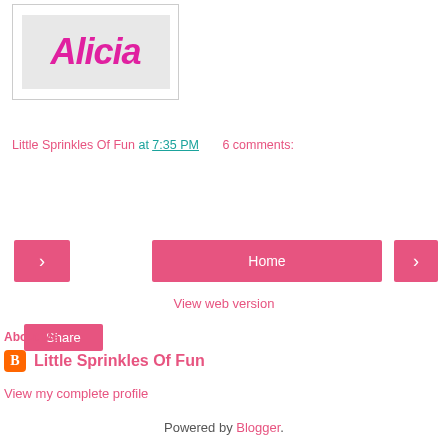[Figure (logo): Alicia handwritten-style name logo in magenta/pink on grey background, inside a white bordered box]
Little Sprinkles Of Fun at 7:35 PM    6 comments:
Share
< Home >
View web version
About Me
Little Sprinkles Of Fun
View my complete profile
Powered by Blogger.